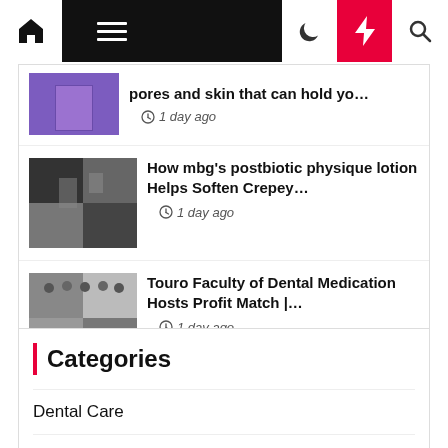Navigation bar with home, menu, moon, bolt, and search icons
pores and skin that can hold yo… 1 day ago
How mbg's postbiotic physique lotion Helps Soften Crepey… 1 day ago
Touro Faculty of Dental Medication Hosts Profit Match |… 1 day ago
Categories
Dental Care
Fitness Gym